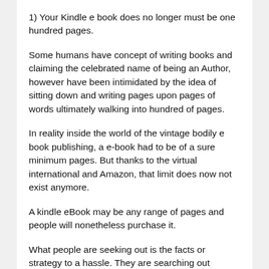1) Your Kindle e book does no longer must be one hundred pages.
Some humans have concept of writing books and claiming the celebrated name of being an Author, however have been intimidated by the idea of sitting down and writing pages upon pages of words ultimately walking into hundred of pages.
In reality inside the world of the vintage bodily e book publishing, a e-book had to be of a sure minimum pages. But thanks to the virtual international and Amazon, that limit does now not exist anymore.
A kindle eBook may be any range of pages and people will nonetheless purchase it.
What people are seeking out is the facts or strategy to a hassle. They are searching out statistics which presents the answer to their problems. The number of pages does no longer sincerely count to them. Once you may